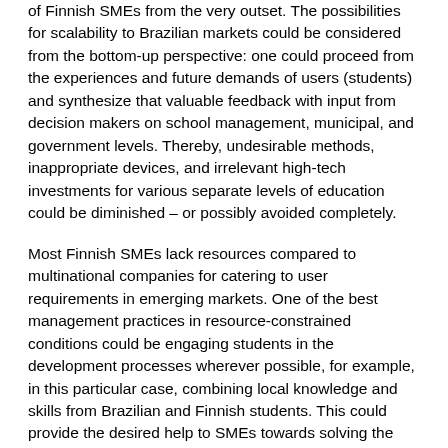of Finnish SMEs from the very outset. The possibilities for scalability to Brazilian markets could be considered from the bottom-up perspective: one could proceed from the experiences and future demands of users (students) and synthesize that valuable feedback with input from decision makers on school management, municipal, and government levels. Thereby, undesirable methods, inappropriate devices, and irrelevant high-tech investments for various separate levels of education could be diminished – or possibly avoided completely.
Most Finnish SMEs lack resources compared to multinational companies for catering to user requirements in emerging markets. One of the best management practices in resource-constrained conditions could be engaging students in the development processes wherever possible, for example, in this particular case, combining local knowledge and skills from Brazilian and Finnish students. This could provide the desired help to SMEs towards solving the challenges of resource scarcity. Compared to SMEs, for example, bigger companies have better access to emerging markets. They have monetary resources alongside manpower. Most